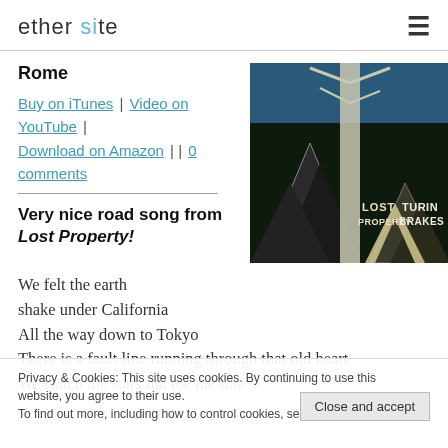ether site
Rome
Buy on iTunes | Video on YouTube | Download on Amazon | | 0 comments
Very nice road song from Lost Property!
[Figure (illustration): Album art for Turin Brakes - Lost Property. Geometric triangular shapes in dark tones with trees, text reading LOST PROPERTY TURIN BRAKES]
We felt the earth shake under California
All the way down to Tokyo
There is a fault line running through that old heart
We watch the stars but toe the line
Privacy & Cookies: This site uses cookies. By continuing to use this website, you agree to their use. To find out more, including how to control cookies, see here: Cookie Policy